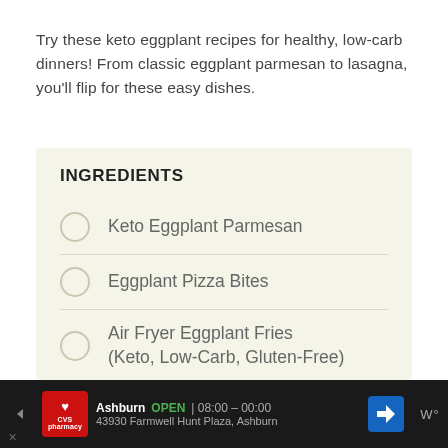Try these keto eggplant recipes for healthy, low-carb dinners! From classic eggplant parmesan to lasagna, you'll flip for these easy dishes.
INGREDIENTS
Keto Eggplant Parmesan
Eggplant Pizza Bites
Air Fryer Eggplant Fries (Keto, Low-Carb, Gluten-Free)
Ashburn OPEN 08:00 – 00:00 43930 Farmwell Hunt Plaza, Ashburn